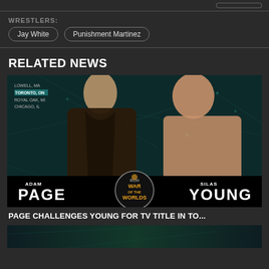WRESTLERS:
Jay White
Punishment Martinez
RELATED NEWS
[Figure (photo): ROH War of the Worlds promotional image showing Adam Page vs Silas Young with event locations listed (Lowell MA, Toronto ON, Royal Oak MI, Chicago IL)]
PAGE CHALLENGES YOUNG FOR TV TITLE IN TO...
[Figure (photo): Partially visible second news image at bottom of page]